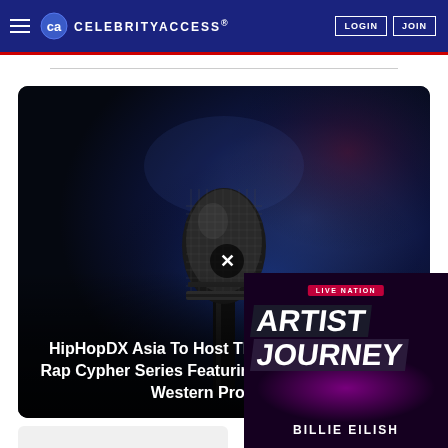CELEBRITYACCESS® | LOGIN | JOIN
[Figure (photo): Close-up photo of a black handheld microphone against a dark blue/purple blurred background]
HipHopDX Asia To Host The Regionals, A New Rap Cypher Series Featuring Asian Emcees And Western Producers
[Figure (other): Live Nation Artist Journey advertisement featuring Billie Eilish with pink/purple glow background and bold white text]